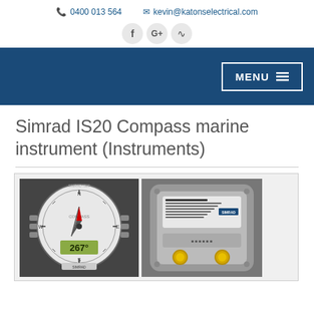0400 013 564   kevin@katonselectrical.com
[Figure (screenshot): Social media icons: Facebook, Google+, RSS feed]
[Figure (screenshot): Dark blue navigation bar with MENU button (hamburger icon) on the right]
Simrad IS20 Compass marine instrument (Instruments)
[Figure (photo): Two product photos of the Simrad IS20 Compass marine instrument: front view showing compass dial with LCD display reading 267 degrees, and rear view showing the back panel with connectors and yellow buttons]